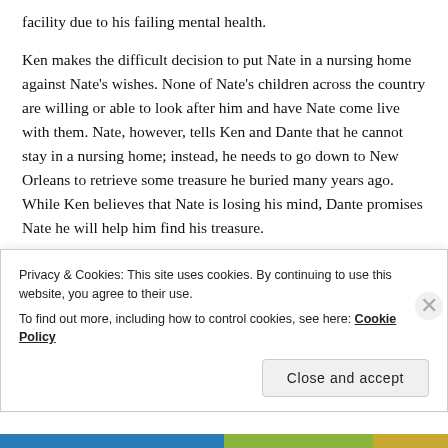facility due to his failing mental health.
Ken makes the difficult decision to put Nate in a nursing home against Nate's wishes. None of Nate's children across the country are willing or able to look after him and have Nate come live with them. Nate, however, tells Ken and Dante that he cannot stay in a nursing home; instead, he needs to go down to New Orleans to retrieve some treasure he buried many years ago. While Ken believes that Nate is losing his mind, Dante promises Nate he will help him find his treasure.
Ken places Nate in a nursing home, which is filled with
Privacy & Cookies: This site uses cookies. By continuing to use this website, you agree to their use.
To find out more, including how to control cookies, see here: Cookie Policy